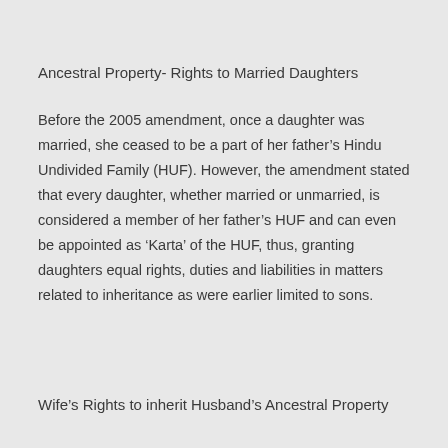Ancestral Property- Rights to Married Daughters
Before the 2005 amendment, once a daughter was married, she ceased to be a part of her father’s Hindu Undivided Family (HUF). However, the amendment stated that every daughter, whether married or unmarried, is considered a member of her father’s HUF and can even be appointed as ‘Karta’ of the HUF, thus, granting daughters equal rights, duties and liabilities in matters related to inheritance as were earlier limited to sons.
Wife’s Rights to inherit Husband’s Ancestral Property